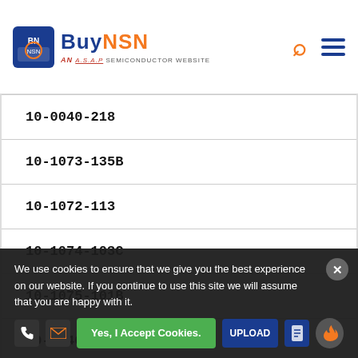BuyNSN - AN A.S.A.P SEMICONDUCTOR WEBSITE
10-0040-218
10-1073-135B
10-1072-113
10-1074-103C
10-1075-101B
10-0040-219
10-1076-103K
We use cookies to ensure that we give you the best experience on our website. If you continue to use this site we will assume that you are happy with it.